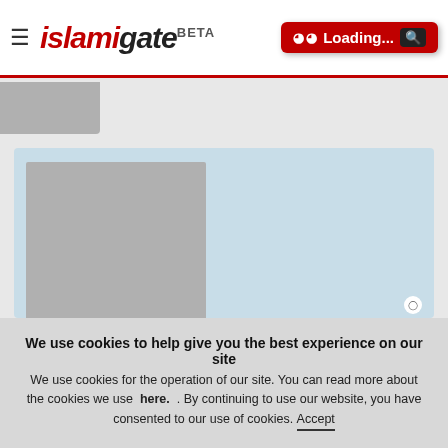islamiqate BETA
[Figure (screenshot): islamiqate website screenshot showing navigation header with hamburger menu, logo, loading button, article image placeholder, and article text about history of the Americas]
In a Nutshell: The history of the Americas is soaked in the deaths of over 100 million natives, holocausts, misappropriation of land, racism, oppression and slavery. This pattern has been ongoing and systemic with over 37 million displaced in recent wars in the middle east. Americans are taught and thus believe their country is a
We use cookies to help give you the best experience on our site We use cookies for the operation of our site. You can read more about the cookies we use here. . By continuing to use our website, you have consented to our use of cookies. Accept